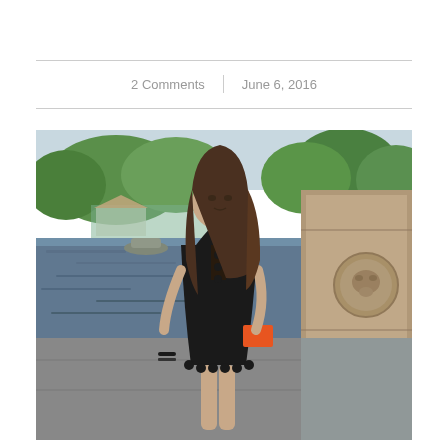2 Comments  |  June 6, 2016
[Figure (photo): A young woman wearing a black lace mini dress and holding an orange clutch, standing in front of a pond near Bethesda Fountain in Central Park, New York. Trees and a boathouse are visible in the background.]